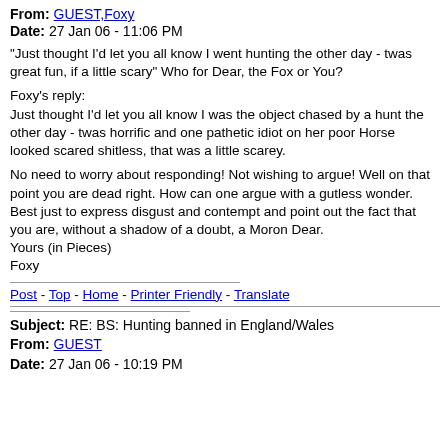From: GUEST,Foxy
Date: 27 Jan 06 - 11:06 PM
"Just thought I'd let you all know I went hunting the other day - twas great fun, if a little scary" Who for Dear, the Fox or You?
Foxy's reply:
Just thought I'd let you all know I was the object chased by a hunt the other day - twas horrific and one pathetic idiot on her poor Horse looked scared shitless, that was a little scarey.
No need to worry about responding! Not wishing to argue! Well on that point you are dead right. How can one argue with a gutless wonder.
Best just to express disgust and contempt and point out the fact that you are, without a shadow of a doubt, a Moron Dear.
Yours (in Pieces)
Foxy
Post - Top - Home - Printer Friendly - Translate
Subject: RE: BS: Hunting banned in England/Wales
From: GUEST
Date: 27 Jan 06 - 10:19 PM